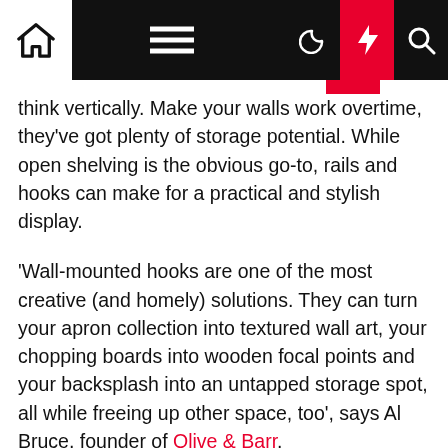Navigation bar with home, menu, moon, flash, and search icons
think vertically. Make your walls work overtime, they've got plenty of storage potential. While open shelving is the obvious go-to, rails and hooks can make for a practical and stylish display.
'Wall-mounted hooks are one of the most creative (and homely) solutions. They can turn your apron collection into textured wall art, your chopping boards into wooden focal points and your backsplash into an untapped storage spot, all while freeing up other space, too', says Al Bruce, founder of Olive & Barr.
Fitting a rack or narrow shelving to the back of a kitchen cabinet or pantry door is also a clever hack. As well as small jars, tins, packets etc, use it to store Tupperware or pan lids, and store the corresponding containers and pans in the cabinet itself.